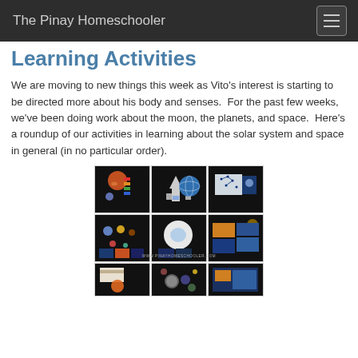The Pinay Homeschooler
Learning Activities
We are moving to new things this week as Vito's interest is starting to be directed more about his body and senses.  For the past few weeks, we've been doing work about the moon, the planets, and space.  Here's a roundup of our activities in learning about the solar system and space in general (in no particular order).
[Figure (photo): 3x3 grid of photos showing homeschool learning trays with space-themed materials including planet models, rocket ship, globe, star charts, constellation cards, astronaut helmet, and educational cards on dark backgrounds. Watermark reads WWW.PINAYHOMESCHOOLER.COM]